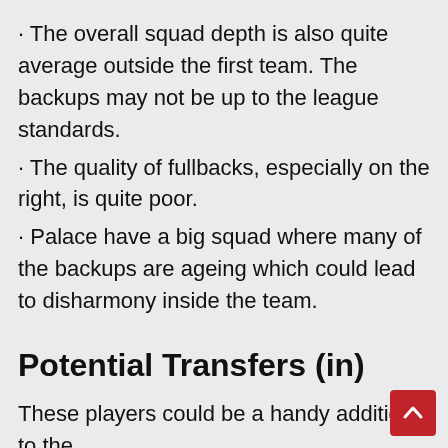· The overall squad depth is also quite average outside the first team. The backups may not be up to the league standards.
· The quality of fullbacks, especially on the right, is quite poor.
· Palace have a big squad where many of the backups are ageing which could lead to disharmony inside the team.
Potential Transfers (in)
These players could be a handy addition to the